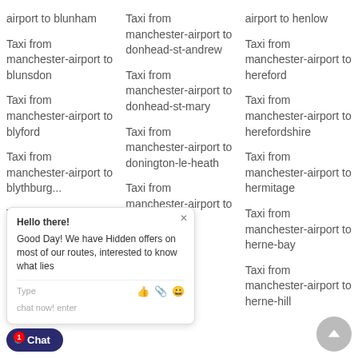airport to blunham
Taxi from manchester-airport to donhead-st-andrew
airport to henlow
Taxi from manchester-airport to blunsdon
Taxi from manchester-airport to hereford
Taxi from manchester-airport to blyford
Taxi from manchester-airport to donhead-st-mary
Taxi from manchester-airport to herefordshire
Taxi from manchester-airport to blythburg...
Taxi from manchester-airport to hermitage
Taxi from manchester-airport to donington-le-heath
Taxi from manchester-airport to herne-bay
Taxi from manchester-airport to donnington
Taxi from manchester-airport to herne-hill
airport to bodicote